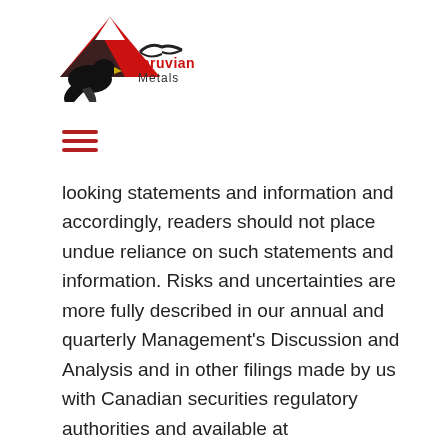[Figure (logo): Peruvian Metals company logo with mountain silhouette graphic in red and black, with company name text]
looking statements and information and accordingly, readers should not place undue reliance on such statements and information. Risks and uncertainties are more fully described in our annual and quarterly Management's Discussion and Analysis and in other filings made by us with Canadian securities regulatory authorities and available at www.sedar.com.While the Company believes that the expectations expressed by such forward-looking statements and forward-looking information and the assumptions, estimates, opinions and analysis underlying such expectations are reasonable, there can be no assurance that they will prove to be